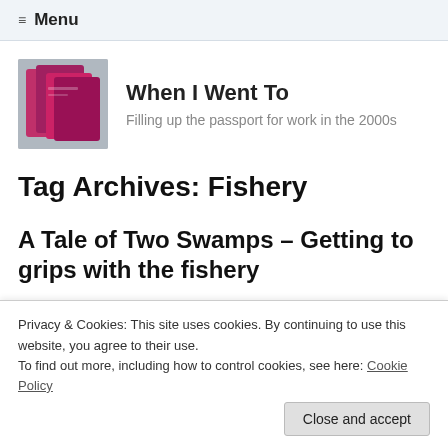≡ Menu
[Figure (photo): Small photo of pink/magenta passport covers stacked together]
When I Went To
Filling up the passport for work in the 2000s
Tag Archives: Fishery
A Tale of Two Swamps – Getting to grips with the fishery
…seen all the activity, Ian and more, you instantly whipped by hostility to our own inquisitiveness. As we made our way to the lakeshore we saw the limnal side of the
Privacy & Cookies: This site uses cookies. By continuing to use this website, you agree to their use.
To find out more, including how to control cookies, see here: Cookie Policy
Close and accept